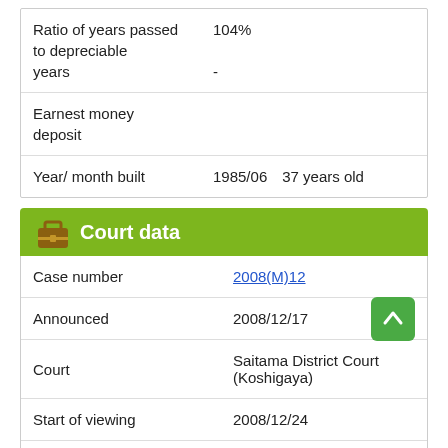| Field | Value |
| --- | --- |
| Ratio of years passed to depreciable years | 104%
- |
| Earnest money deposit |  |
| Year/ month built | 1985/06　37 years old　 |
Court data
| Field | Value |
| --- | --- |
| Case number | 2008(M)12 |
| Announced | 2008/12/17 |
| Court | Saitama District Court (Koshigaya) |
| Start of viewing | 2008/12/24 |
| Sale type | Sealed bid auction (2 times) |